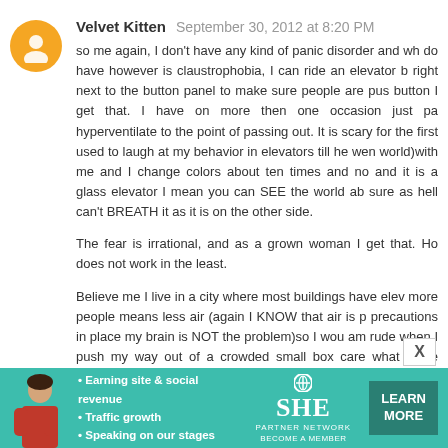Velvet Kitten  September 30, 2012 at 8:20 PM
so me again, I don't have any kind of panic disorder and wh do have however is claustrophobia, I can ride an elevator b right next to the button panel to make sure people are pus button I get that. I have on more then one occasion just pa hyperventilate to the point of passing out. It is scary for the first used to laugh at my behavior in elevators till he wen world)with me and I change colors about ten times and no and it is a glass elevator I mean you can SEE the world ab sure as hell can't BREATH it as it is on the other side.

The fear is irrational, and as a grown woman I get that. Ho does not work in the least.

Believe me I live in a city where most buildings have elev more people means less air (again I KNOW that air is p precautions in place my brain is NOT the problem)so I wou am rude when I push my way out of a crowded small box care what these strangers are thinking about my rudeness.

I just wanted you to know that I appreciate you sharing you knows someone with one a little less alone. All our fears important to remember everyone fears something and
[Figure (infographic): SHE Partner Network advertisement banner with teal background, woman photo, bullet points about earning site & social revenue, traffic growth, speaking on stages, SHE logo, and Learn More button]